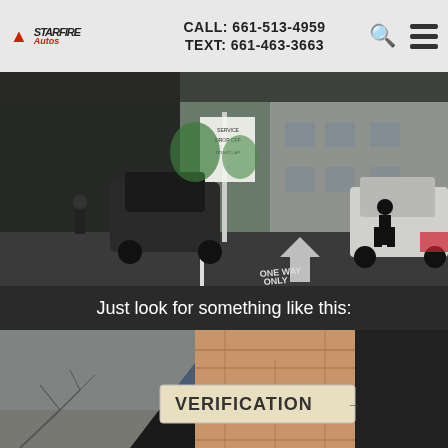Starfire Autos | CALL: 661-513-4959 | TEXT: 661-463-3663
[Figure (photo): Outdoor parking lot / auto dealership service drive-through with vehicles, a sign post, and a building in the background. Painted arrow and text 'ONE WAY ONLY' on ground.]
Just look for something like this:
[Figure (photo): Close-up photo of a brick pillar with a sign reading 'VERIFICATION' and an arrow pointing right.]